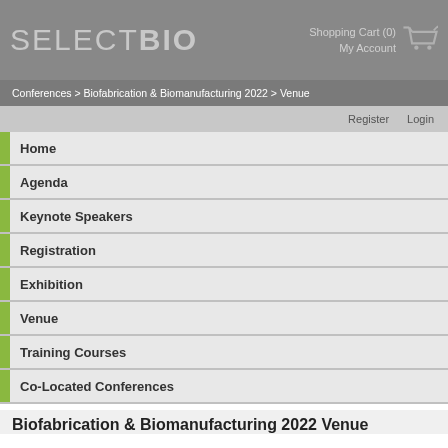SELECTBIO  Shopping Cart (0)  My Account
Conferences > Biofabrication & Biomanufacturing 2022 > Venue
Register  Login
Home
Agenda
Keynote Speakers
Registration
Exhibition
Venue
Training Courses
Co-Located Conferences
Biofabrication & Biomanufacturing 2022 Venue